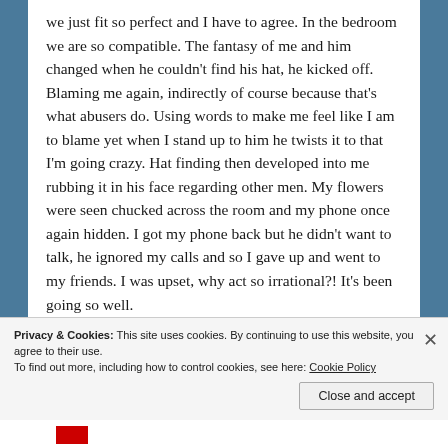we just fit so perfect and I have to agree. In the bedroom we are so compatible. The fantasy of me and him changed when he couldn't find his hat, he kicked off. Blaming me again, indirectly of course because that's what abusers do. Using words to make me feel like I am to blame yet when I stand up to him he twists it to that I'm going crazy. Hat finding then developed into me rubbing it in his face regarding other men. My flowers were seen chucked across the room and my phone once again hidden. I got my phone back but he didn't want to talk, he ignored my calls and so I gave up and went to my friends. I was upset, why act so irrational?! It's been going so well.
Privacy & Cookies: This site uses cookies. By continuing to use this website, you agree to their use.
To find out more, including how to control cookies, see here: Cookie Policy